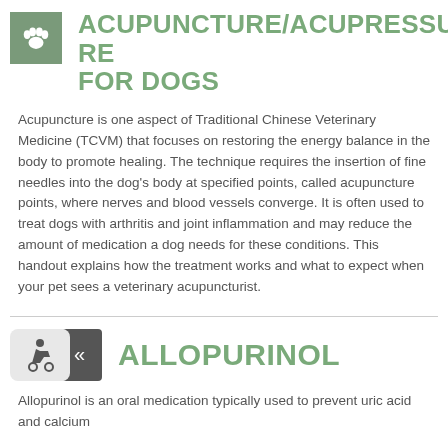ACUPUNCTURE/ACUPRESSURE FOR DOGS
Acupuncture is one aspect of Traditional Chinese Veterinary Medicine (TCVM) that focuses on restoring the energy balance in the body to promote healing. The technique requires the insertion of fine needles into the dog’s body at specified points, called acupuncture points, where nerves and blood vessels converge. It is often used to treat dogs with arthritis and joint inflammation and may reduce the amount of medication a dog needs for these conditions. This handout explains how the treatment works and what to expect when your pet sees a veterinary acupuncturist.
ALLOPURINOL
Allopurinol is an oral medication typically used to prevent uric acid and calcium